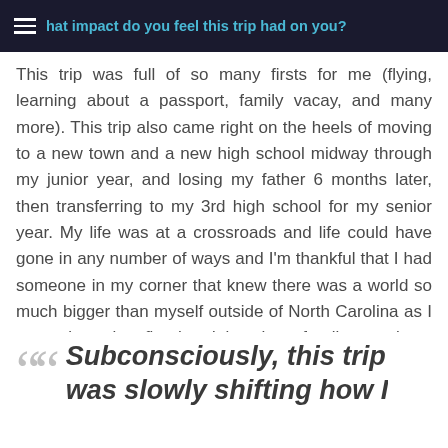What impact do you feel this trip had on you?
This trip was full of so many firsts for me (flying, learning about a passport, family vacay, and many more). This trip also came right on the heels of moving to a new town and a new high school midway through my junior year, and losing my father 6 months later, then transferring to my 3rd high school for my senior year. My life was at a crossroads and life could have gone in any number of ways and I'm thankful that I had someone in my corner that knew there was a world so much bigger than myself outside of North Carolina as I was witnessing first-hand just how fragile, precious, and short, life really is.
“Subconsciously, this trip was slowly shifting how I